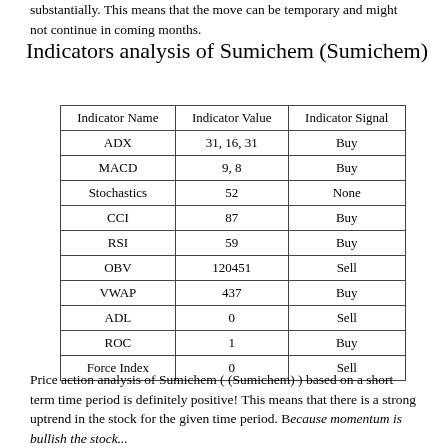substantially. This means that the move can be temporary and might not continue in coming months.
Indicators analysis of Sumichem (Sumichem)
| Indicator Name | Indicator Value | Indicator Signal |
| --- | --- | --- |
| ADX | 31, 16, 31 | Buy |
| MACD | 9, 8 | Buy |
| Stochastics | 52 | None |
| CCI | 87 | Buy |
| RSI | 59 | Buy |
| OBV | 120451 | Sell |
| VWAP | 437 | Buy |
| ADL | 0 | Sell |
| ROC | 1 | Buy |
| Force Index | 0 | Sell |
Price action analysis of Sumichem ( (Sumichem) ) based on a short term time period is definitely positive! This means that there is a strong uptrend in the stock for the given time period. Because momentum is bullish the stock...